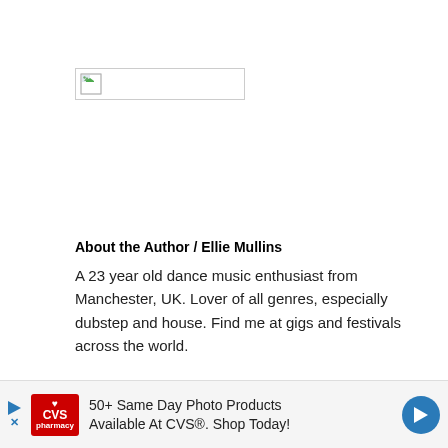[Figure (illustration): Broken image placeholder box with a small broken image icon on the left side]
About the Author / Ellie Mullins
A 23 year old dance music enthusiast from Manchester, UK. Lover of all genres, especially dubstep and house. Find me at gigs and festivals across the world.
[Figure (screenshot): CVS Pharmacy advertisement banner: '50+ Same Day Photo Products Available At CVS®. Shop Today!' with CVS logo, play button arrow, and blue directional arrow icon]